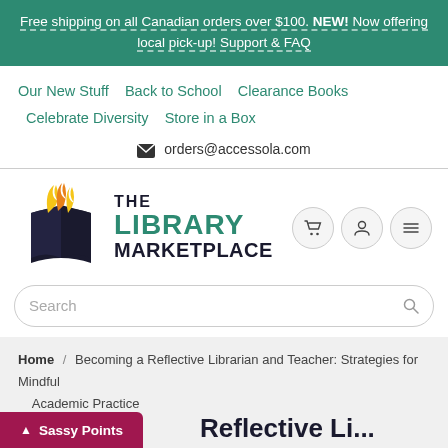Free shipping on all Canadian orders over $100. NEW! Now offering local pick-up! Support & FAQ
Our New Stuff  Back to School  Clearance Books  Celebrate Diversity  Store in a Box
orders@accessola.com
[Figure (logo): The Library Marketplace logo: open book with flame pages in dark navy, orange, and yellow, with text 'THE LIBRARY MARKETPLACE']
Search
Home / Becoming a Reflective Librarian and Teacher: Strategies for Mindful Academic Practice
Sassy Points